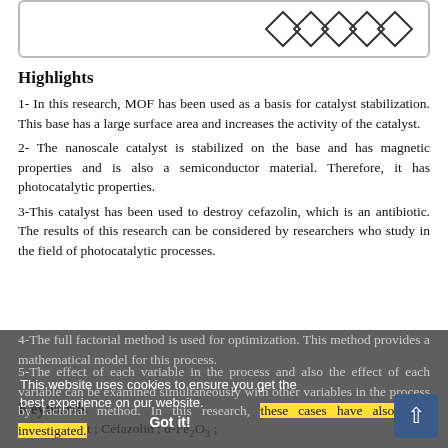[Figure (illustration): Top border box with diamond/rhombus shapes on the right side]
Highlights
1- In this research, MOF has been used as a basis for catalyst stabilization. This base has a large surface area and increases the activity of the catalyst.
2- The nanoscale catalyst is stabilized on the base and has magnetic properties and is also a semiconductor material. Therefore, it has photocatalytic properties.
3-This catalyst has been used to destroy cefazolin, which is an antibiotic. The results of this research can be considered by researchers who study in the field of photocatalytic processes.
4-The full factorial method is used for optimization. This method provides a mathematical model for this process.
5-The effect of each variable in the process and also the effect of each variable can be examined simultaneously with other variables in the process by factorial method. In this research, these cases have also been investigated.
This website uses cookies to ensure you get the best experience on our website.
Got it!
Keywords
Photocatalyst ; Cefazolin ; α-Fe2O3 ;